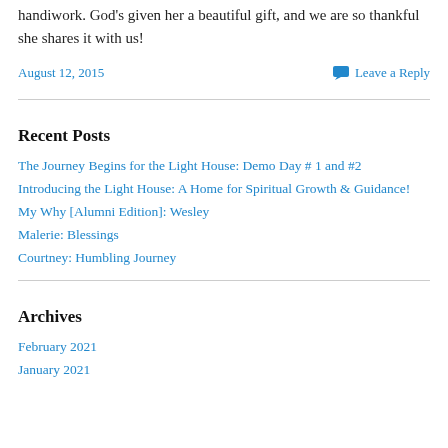handiwork. God's given her a beautiful gift, and we are so thankful she shares it with us!
August 12, 2015
Leave a Reply
Recent Posts
The Journey Begins for the Light House: Demo Day # 1 and #2
Introducing the Light House: A Home for Spiritual Growth & Guidance!
My Why [Alumni Edition]: Wesley
Malerie: Blessings
Courtney: Humbling Journey
Archives
February 2021
January 2021